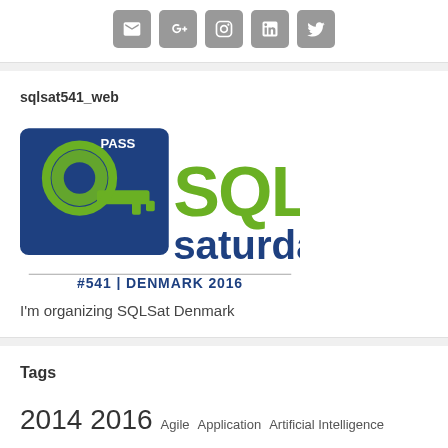[Figure (other): Social media icon buttons: email, Google+, Instagram, LinkedIn, Twitter]
sqlsat541_web
[Figure (logo): PASS SQL Saturday #541 Denmark 2016 logo with key icon]
I'm organizing SQLSat Denmark
Tags
2014 2016 Agile Application Artificial Intelligence Automation Azure Azure Datawarehouse Azure Maps Batteries BI Business Business Intellingence Call For Speakers campus days Certification Client Data